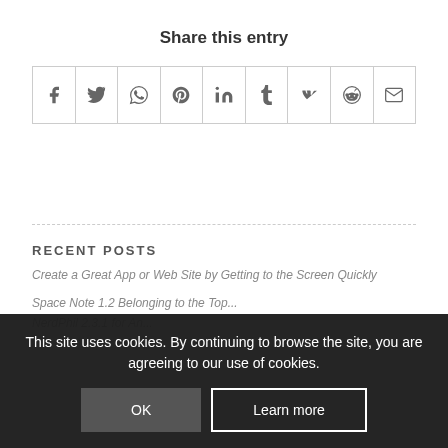Share this entry
[Figure (infographic): Row of 9 social media share icons: Facebook, Twitter, WhatsApp, Pinterest, LinkedIn, Tumblr, VK, Reddit, Email]
RECENT POSTS
Create a Great App or Web Site by Getting to the Screen Quickly
Space Note 1.2 Belonging to the Top...
NerdPhil 2.3.1 for An...
This site uses cookies. By continuing to browse the site, you are agreeing to our use of cookies.